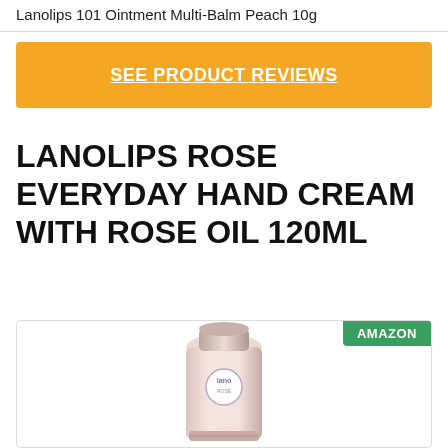Lanolips 101 Ointment Multi-Balm Peach 10g
SEE PRODUCT REVIEWS
LANOLIPS ROSE EVERYDAY HAND CREAM WITH ROSE OIL 120ML
[Figure (photo): Product photo of Lano Rose Everyday Hand Cream tube, pale pink tube with blue logo, shown angled on white background, with a green AMAZON badge in the top right corner of the image box.]